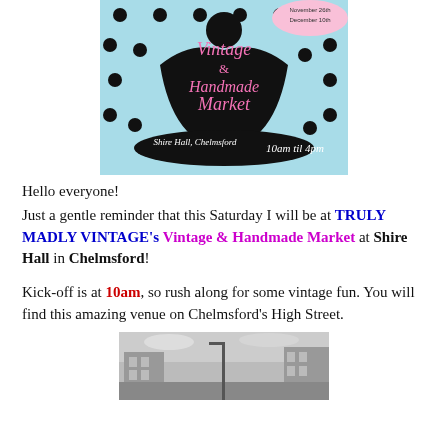[Figure (illustration): Vintage & Handmade Market poster with a woman in a black dress on a light blue polka-dot background. Text reads: Vintage & Handmade Market, Shire Hall, Chelmsford, 10am til 4pm, November 26th, December 10th]
Hello everyone!
Just a gentle reminder that this Saturday I will be at TRULY MADLY VINTAGE's Vintage & Handmade Market at Shire Hall in Chelmsford!
Kick-off is at 10am, so rush along for some vintage fun. You will find this amazing venue on Chelmsford's High Street.
[Figure (photo): Black and white photograph of Chelmsford's High Street]